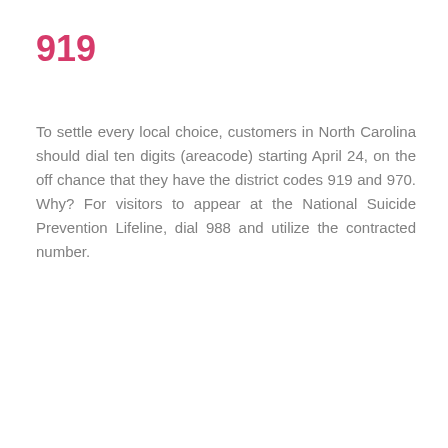919
To settle every local choice, customers in North Carolina should dial ten digits (areacode) starting April 24, on the off chance that they have the district codes 919 and 970. Why? For visitors to appear at the National Suicide Prevention Lifeline, dial 988 and utilize the contracted number.